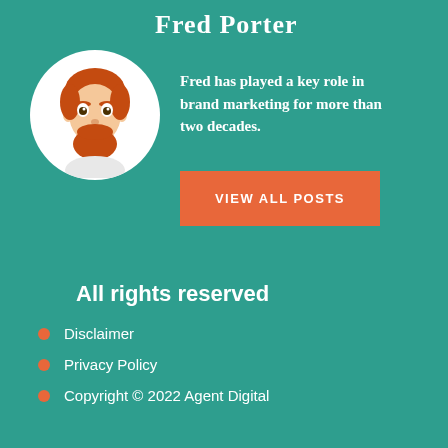Fred Porter
[Figure (illustration): Cartoon/bitmoji-style avatar of a man with red hair and beard, smiling, wearing a white shirt, inside a white circle]
Fred has played a key role in brand marketing for more than two decades.
VIEW ALL POSTS
All rights reserved
Disclaimer
Privacy Policy
Copyright © 2022 Agent Digital